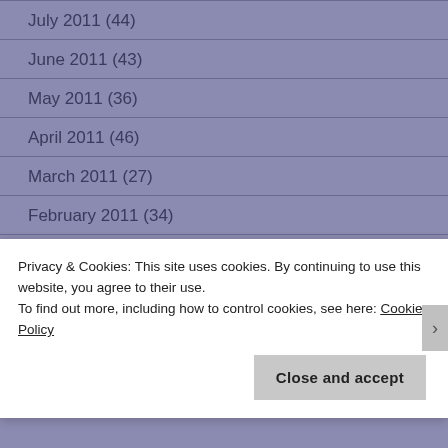July 2011 (44)
June 2011 (43)
May 2011 (36)
April 2011 (46)
March 2011 (27)
February 2011 (34)
January 2011 (53)
December 2010 (73)
November 2010 (47)
Privacy & Cookies: This site uses cookies. By continuing to use this website, you agree to their use.
To find out more, including how to control cookies, see here: Cookie Policy
Close and accept